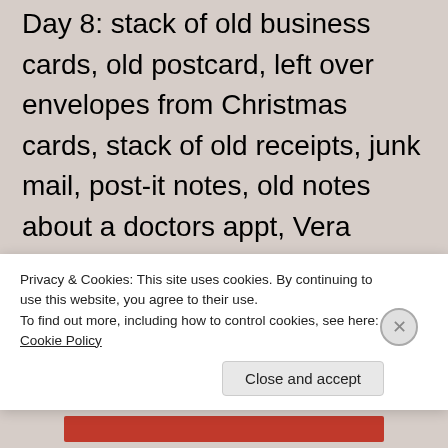Day 8: stack of old business cards, old postcard, left over envelopes from Christmas cards, stack of old receipts, junk mail, post-it notes, old notes about a doctors appt, Vera Bradley iPad case
Day 9: old mouth guard, 3 post-it pads, 5 old makeup samples
Day 10: 10 envelopes from old Christmas
Privacy & Cookies: This site uses cookies. By continuing to use this website, you agree to their use.
To find out more, including how to control cookies, see here: Cookie Policy